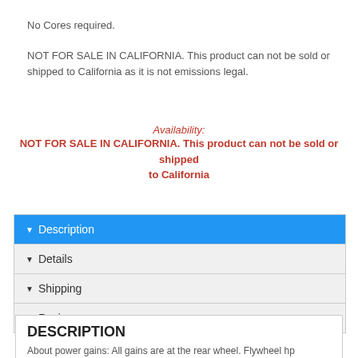No Cores required.
NOT FOR SALE IN CALIFORNIA. This product can not be sold or shipped to California as it is not emissions legal.
Availability:
NOT FOR SALE IN CALIFORNIA. This product can not be sold or shipped to California
▼ Description
▼ Details
▼ Shipping
▼ Reviews
DESCRIPTION
About power gains: All gains are at the rear wheel. Flywheel hp